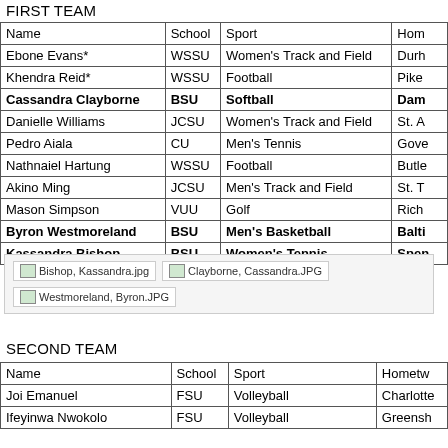FIRST TEAM
| Name | School | Sport | Home |
| --- | --- | --- | --- |
| Ebone Evans* | WSSU | Women's Track and Field | Durh |
| Khendra Reid* | WSSU | Football | Pike |
| Cassandra Clayborne | BSU | Softball | Dam |
| Danielle Williams | JCSU | Women's Track and Field | St. A |
| Pedro Aiala | CU | Men's Tennis | Gove |
| Nathnaiel Hartung | WSSU | Football | Butle |
| Akino Ming | JCSU | Men's Track and Field | St. T |
| Mason Simpson | VUU | Golf | Rich |
| Byron Westmoreland | BSU | Men's Basketball | Balti |
| Kassandra Bishop | BSU | Women's Tennis | Spen |
[Figure (screenshot): Image placeholders: Bishop, Kassandra.jpg; Clayborne, Cassandra.JPG; Westmoreland, Byron.JPG]
SECOND TEAM
| Name | School | Sport | Hometown |
| --- | --- | --- | --- |
| Joi Emanuel | FSU | Volleyball | Charlotte |
| Ifeyinwa Nwokolo | FSU | Volleyball | Greensh |